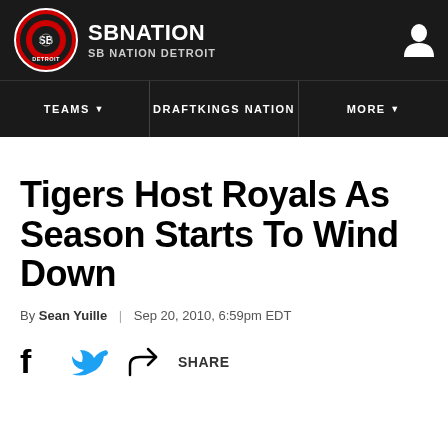SB NATION | SB NATION DETROIT
TEAMS | DRAFTKINGS NATION | MORE
Tigers Host Royals As Season Starts To Wind Down
By Sean Yuille | Sep 20, 2010, 6:59pm EDT
SHARE